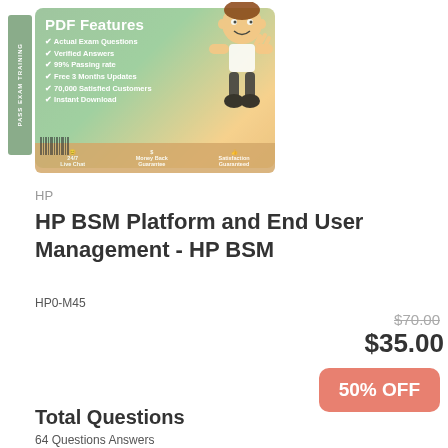[Figure (illustration): Product box illustration for HP exam PDF dump featuring a cartoon boy, checkmark feature list (Actual Exam Questions, Verified Answers, 99% Passing rate, Free 3 Months Updates, 70,000 Satisfied Customers, Instant Download), and footer icons for 24/7 Live Chat, Money Back Guarantee, Satisfaction Guaranteed. Side label reads PASS EXAM with barcode.]
HP
HP BSM Platform and End User Management - HP BSM
HP0-M45
$70.00
$35.00
50% OFF
Total Questions
64 Questions Answers